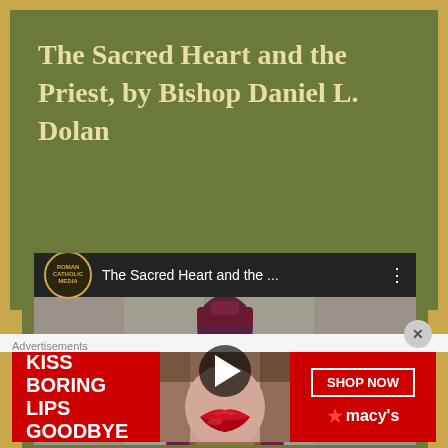The Sacred Heart and the Priest, by Bishop Daniel L. Dolan
[Figure (screenshot): YouTube video thumbnail showing Bishop Daniel L. Dolan in purple vestments and biretta at a lectern. The YouTube-style player bar shows the Roman Catholic Media logo and title 'The Sacred Heart and the ...' with a play button overlay.]
Advertisements
[Figure (screenshot): Advertisement banner for Macy's lipstick promotion reading 'KISS BORING LIPS GOODBYE' with a woman's red-lipstick lips photo, a 'SHOP NOW' button, and the Macy's star logo.]